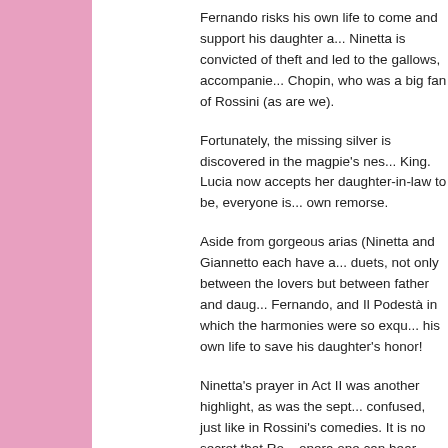Fernando risks his own life to come and support his daughter a... Ninetta is convicted of theft and led to the gallows, accompanie... Chopin, who was a big fan of Rossini (as are we).
Fortunately, the missing silver is discovered in the magpie's nes... King. Lucia now accepts her daughter-in-law to be, everyone is... own remorse.
Aside from gorgeous arias (Ninetta and Giannetto each have a... duets, not only between the lovers but between father and daug... Fernando, and Il Podestà in which the harmonies were so exqu... his own life to save his daughter's honor!
Ninetta's prayer in Act II was another highlight, as was the sept... confused, just like in Rossini's comedies. It is no secret that Ro... opera one can hear melodies from his other operas. Do we min...
The only thing we minded, come to think of it, was the overly lo... we would have cut it by half at least. And one other cavil which... the surtitles made the words more difficult to read than they nee...
We sat on the other side of the theater than we had the prior ni... the orchestra, how they related to one another, and how maestà... was an exquisite solo on the baroque flute with some competit...